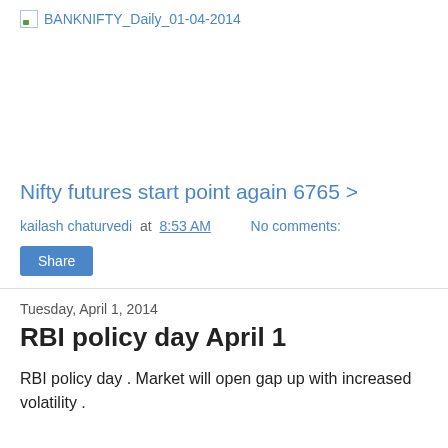[Figure (other): Broken image placeholder labeled BANKNIFTY_Daily_01-04-2014]
Nifty futures start point again 6765 >
kailash chaturvedi at 8:53 AM   No comments:
Share
Tuesday, April 1, 2014
RBI policy day April 1
RBI policy day . Market will open gap up with increased volatility .